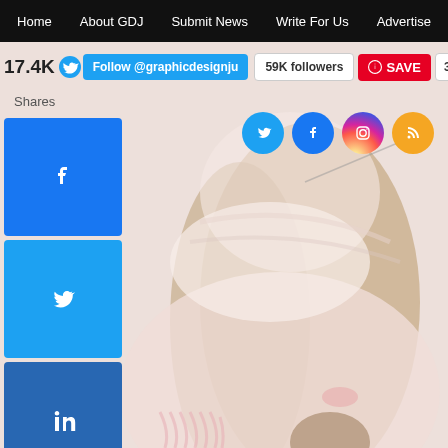Home | About GDJ | Submit News | Write For Us | Advertise
[Figure (screenshot): Website screenshot showing a graphic design blog with a background illustration of a girl with long wavy hair wearing a pink scarf. The page includes a navigation bar, Twitter follow button, Pinterest save button, social share sidebar with Facebook, Twitter, LinkedIn, Pinterest buttons, a share count of 17.4K, and social media icons (Twitter, Facebook, Instagram, RSS) in the upper right area.]